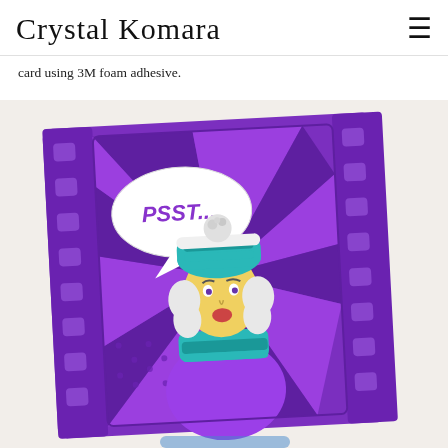Crystal Komara
card using 3M foam adhesive.
[Figure (photo): Close-up photo of a handmade greeting card featuring a comic-style illustration. The card has a purple film strip border design with purple swirl/ray background. A die-cut image of a woman wearing a teal knit beanie with pom-pom, white ear muffs, and teal scarf is centered. A speech bubble reads 'PSST...' in purple lettering. The overall color palette is purple, teal, white, and yellow.]